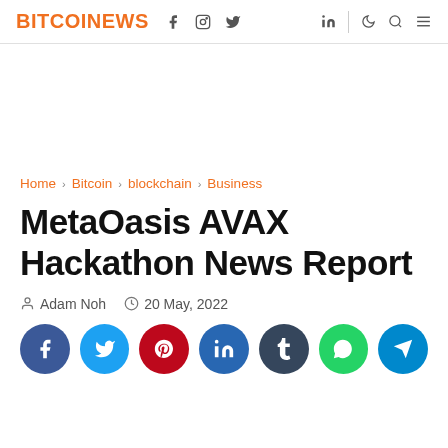BITCOINEWS
Home › Bitcoin › blockchain › Business
MetaOasis AVAX Hackathon News Report
Adam Noh  20 May, 2022
[Figure (other): Social share buttons: Facebook, Twitter, Pinterest, LinkedIn, Tumblr, WhatsApp, Telegram]